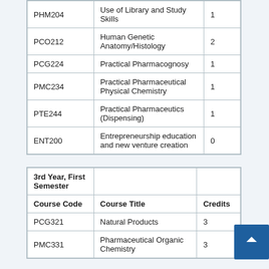| Course Code | Course Title | Credits |
| --- | --- | --- |
| PHM204 | Use of Library and Study Skills | 1 |
| PCO212 | Human Genetic Anatomy/Histology | 2 |
| PCG224 | Practical Pharmacognosy | 1 |
| PMC234 | Practical Pharmaceutical Physical Chemistry | 1 |
| PTE244 | Practical Pharmaceutics (Dispensing) | 1 |
| ENT200 | Entrepreneurship education and new venture creation | 0 |
| Course Code | Course Title | Credits |
| --- | --- | --- |
| 3rd Year, First Semester |  |  |
| Course Code | Course Title | Credits |
| PCG321 | Natural Products | 3 |
| PMC331 | Pharmaceutical Organic Chemistry | 3 |